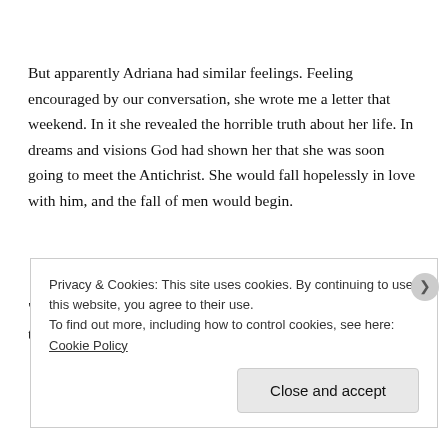But apparently Adriana had similar feelings. Feeling encouraged by our conversation, she wrote me a letter that weekend. In it she revealed the horrible truth about her life. In dreams and visions God had shown her that she was soon going to meet the Antichrist. She would fall hopelessly in love with him, and the fall of men would begin.
“In a battle,” she wrote, “my love will be wounded and killed, though
Privacy & Cookies: This site uses cookies. By continuing to use this website, you agree to their use.
To find out more, including how to control cookies, see here: Cookie Policy